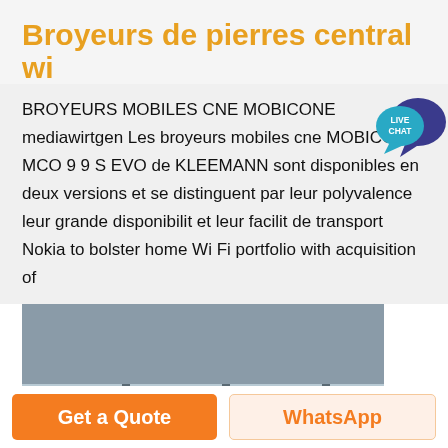Broyeurs de pierres central wi
BROYEURS MOBILES CNE MOBICONE mediawirtgen Les broyeurs mobiles cne MOBICONE MCO 9 9 S EVO de KLEEMANN sont disponibles en deux versions et se distinguent par leur polyvalence leur grande disponibilit et leur facilit de transport Nokia to bolster home Wi Fi portfolio with acquisition of
[Figure (photo): Industrial metal ductwork/piping with curved bends, visible through a glass-paneled structure or window with exterior rock/terrain visible beyond.]
Get a Quote
WhatsApp